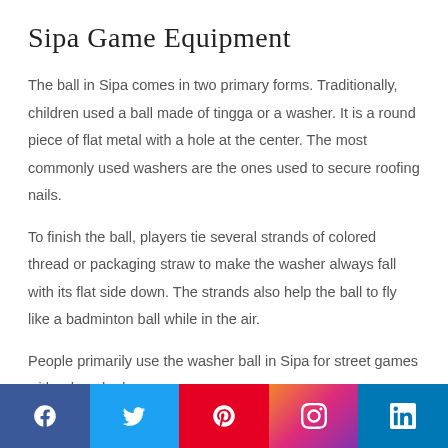Sipa Game Equipment
The ball in Sipa comes in two primary forms. Traditionally, children used a ball made of tingga or a washer. It is a round piece of flat metal with a hole at the center. The most commonly used washers are the ones used to secure roofing nails.
To finish the ball, players tie several strands of colored thread or packaging straw to make the washer always fall with its flat side down. The strands also help the ball to fly like a badminton ball while in the air.
People primarily use the washer ball in Sipa for street games with relaxed rules.
[Figure (other): Social media icons footer bar with Facebook, Twitter, Pinterest, Instagram, and LinkedIn icons on colored backgrounds]